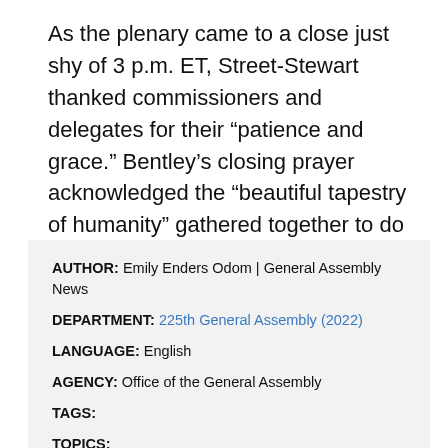As the plenary came to a close just shy of 3 p.m. ET, Street-Stewart thanked commissioners and delegates for their “patience and grace.” Bentley’s closing prayer acknowledged the “beautiful tapestry of humanity” gathered together to do God’s will.
AUTHOR: Emily Enders Odom | General Assembly News
DEPARTMENT: 225th General Assembly (2022)
LANGUAGE: English
AGENCY: Office of the General Assembly
TAGS:
TOPICS: